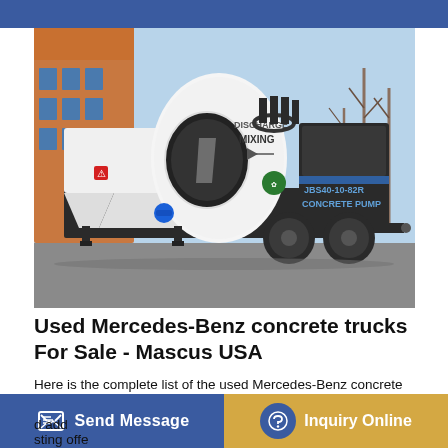[Figure (photo): A white JBS40-10-82R concrete pump truck parked outdoors. The machine has a large white mixing drum with 'DISCHARGE MIXING' text, a hopper, and 'JBS40-10-82R CONCRETE PUMP' label on the side. Background shows a building and bare trees.]
Used Mercedes-Benz concrete trucks For Sale - Mascus USA
Here is the complete list of the used Mercedes-Benz concrete trucks for sale. If you are interested in any of the above used Mercedes-Benz concrete trucks for sale, click on the checkbox d add sting offe